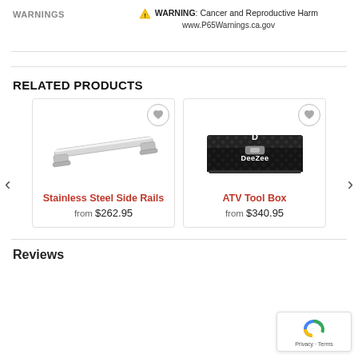WARNINGS
⚠ WARNING: Cancer and Reproductive Harm www.P65Warnings.ca.gov
RELATED PRODUCTS
[Figure (photo): Stainless Steel Side Rails product photo showing a chrome/stainless rail bar]
Stainless Steel Side Rails
from $262.95
[Figure (photo): ATV Tool Box product photo showing a black diamond-plate toolbox with DeeZee logo]
ATV Tool Box
from $340.95
Reviews